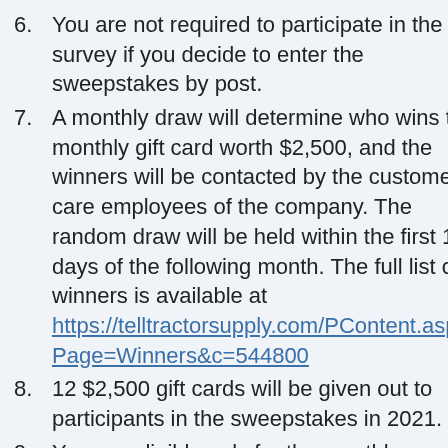6. You are not required to participate in the survey if you decide to enter the sweepstakes by post.
7. A monthly draw will determine who wins the monthly gift card worth $2,500, and the winners will be contacted by the customer care employees of the company. The random draw will be held within the first 15 days of the following month. The full list of winners is available at https://telltractorsupply.com/PContent.aspx?Page=Winners&c=544800
8. 12 $2,500 gift cards will be given out to participants in the sweepstakes in 2021.
9. You are eligible only for the monthly draw. If you want to take part in next month's draw, you will need to sign up for the sweepstakes